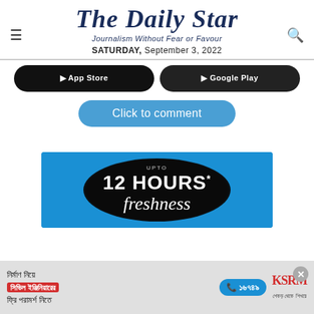The Daily Star
Journalism Without Fear or Favour
SATURDAY, September 3, 2022
[Figure (screenshot): Two dark app store download buttons (partially visible)]
Click to comment
[Figure (photo): Advertisement banner: '12 HOURS* freshness' on blue and black background]
[Figure (infographic): Bottom advertisement bar in Bengali: construction civil engineering consultation ad with phone number 16749 and KSRM logo]